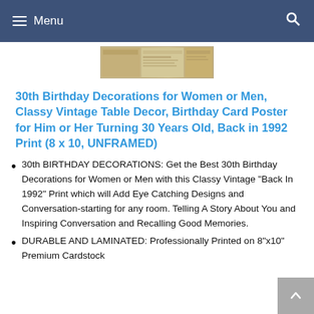Menu
[Figure (photo): A vintage newspaper-style print product image for '30th Birthday Decorations', shown centered at the top of the content area.]
30th Birthday Decorations for Women or Men, Classy Vintage Table Decor, Birthday Card Poster for Him or Her Turning 30 Years Old, Back in 1992 Print (8 x 10, UNFRAMED)
30th BIRTHDAY DECORATIONS: Get the Best 30th Birthday Decorations for Women or Men with this Classy Vintage "Back In 1992" Print which will Add Eye Catching Designs and Conversation-starting for any room. Telling A Story About You and Inspiring Conversation and Recalling Good Memories.
DURABLE AND LAMINATED: Professionally Printed on 8"x10" Premium Cardstock